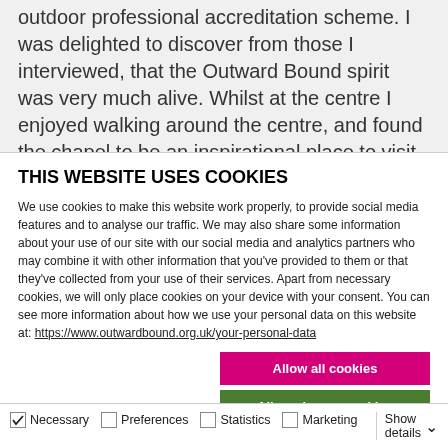outdoor professional accreditation scheme. I was delighted to discover from those I interviewed, that the Outward Bound spirit was very much alive. Whilst at the centre I enjoyed walking around the centre, and found the chapel to be an inspirational place to visit and reflect. The engraved glass window depicting a
THIS WEBSITE USES COOKIES
We use cookies to make this website work properly, to provide social media features and to analyse our traffic. We may also share some information about your use of our site with our social media and analytics partners who may combine it with other information that you've provided to them or that they've collected from your use of their services. Apart from necessary cookies, we will only place cookies on your device with your consent. You can see more information about how we use your personal data on this website at: https://www.outwardbound.org.uk/your-personal-data
Allow all cookies
Allow chosen cookies
Use necessary cookies only
Necessary  Preferences  Statistics  Marketing  Show details